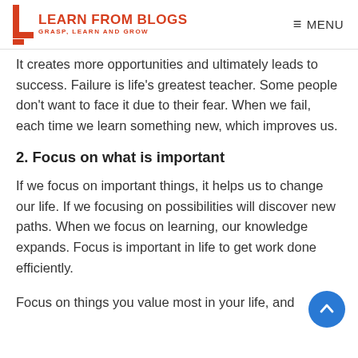LEARN FROM BLOGS — GRASP, LEARN AND GROW | MENU
It creates more opportunities and ultimately leads to success. Failure is life's greatest teacher. Some people don't want to face it due to their fear. When we fail, each time we learn something new, which improves us.
2. Focus on what is important
If we focus on important things, it helps us to change our life. If we focusing on possibilities will discover new paths. When we focus on learning, our knowledge expands. Focus is important in life to get work done efficiently.
Focus on things you value most in your life, and